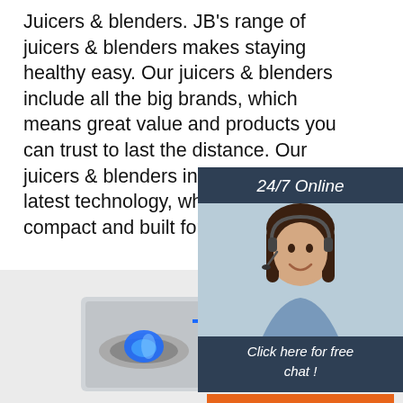Juicers & blenders. JB's range of juicers & blenders makes staying healthy easy. Our juicers & blenders include all the big brands, which means great value and products you can trust to last the distance. Our juicers & blenders include all the latest technology, which they're compact and built for power.
[Figure (illustration): 24/7 Online chat widget showing a woman with a headset, with header '24/7 Online', body text 'Click here for free chat !', and an orange QUOTATION button]
[Figure (photo): Orange button labeled 'Get Price']
[Figure (photo): Bottom section showing two stainless steel gas stove burners with blue flames on a light grey background, with an orange TOP badge in the upper right]